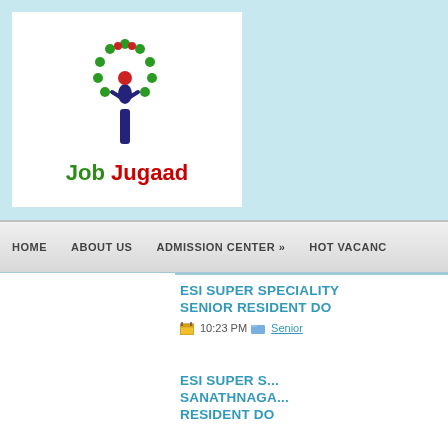[Figure (logo): Job Jugaad logo with tree illustration and text 'Job Jugaad']
HOME   ABOUT US   ADMISSION CENTER »   HOT VACANC...
ESI SUPER SPECIALITY... SENIOR RESIDENT DO...
10:23 PM   Senior...
ESI SUPER S... SANATHNAGA... RESIDENT DO...